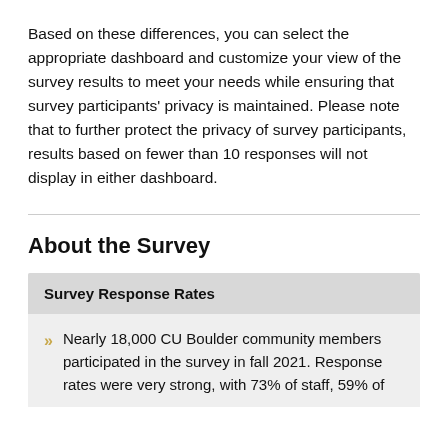Based on these differences, you can select the appropriate dashboard and customize your view of the survey results to meet your needs while ensuring that survey participants’ privacy is maintained. Please note that to further protect the privacy of survey participants, results based on fewer than 10 responses will not display in either dashboard.
About the Survey
Survey Response Rates
Nearly 18,000 CU Boulder community members participated in the survey in fall 2021. Response rates were very strong, with 73% of staff, 59% of